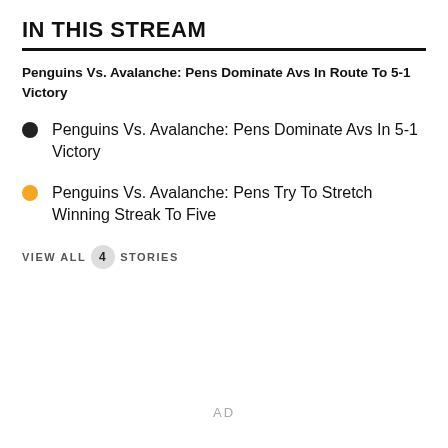IN THIS STREAM
Penguins Vs. Avalanche: Pens Dominate Avs In Route To 5-1 Victory
Penguins Vs. Avalanche: Pens Dominate Avs In 5-1 Victory
Penguins Vs. Avalanche: Pens Try To Stretch Winning Streak To Five
VIEW ALL 4 STORIES